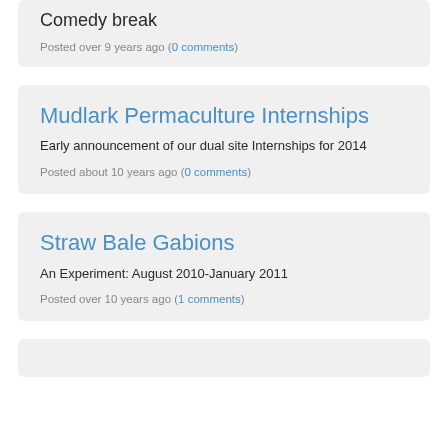Comedy break
Posted over 9 years ago (0 comments)
Mudlark Permaculture Internships
Early announcement of our dual site Internships for 2014
Posted about 10 years ago (0 comments)
Straw Bale Gabions
An Experiment: August 2010-January 2011
Posted over 10 years ago (1 comments)